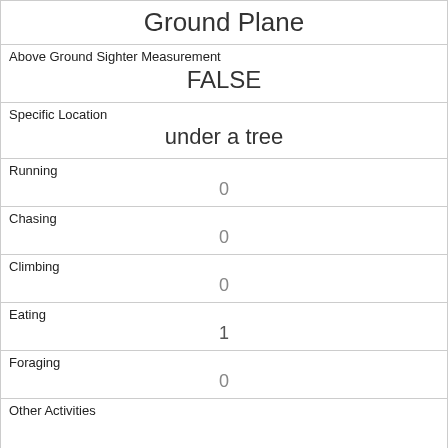Ground Plane
| Above Ground Sighter Measurement | FALSE |
| Specific Location | under a tree |
| Running | 0 |
| Chasing | 0 |
| Climbing | 0 |
| Eating | 1 |
| Foraging | 0 |
| Other Activities |  |
| Kuks | 0 |
| Quaas | 0 |